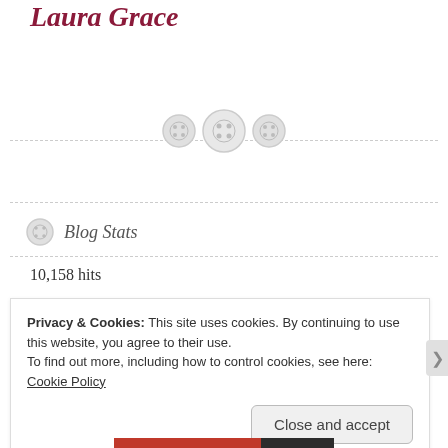Laura Grace
[Figure (illustration): Decorative horizontal dashed divider with three button icons (sewing buttons) centered on the line]
Blog Stats
10,158 hits
Privacy & Cookies: This site uses cookies. By continuing to use this website, you agree to their use.
To find out more, including how to control cookies, see here: Cookie Policy
Close and accept